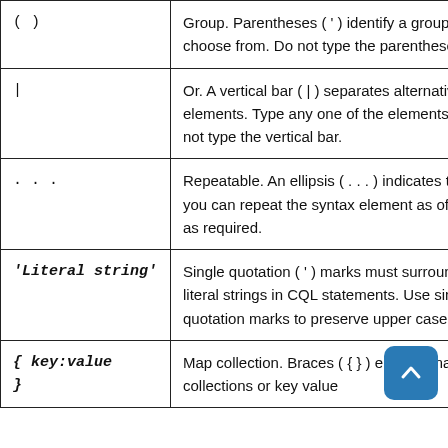| Symbol | Description |
| --- | --- |
| ( ) | Group. Parentheses ( ' ) identify a group to choose from. Do not type the parentheses. |
| | | Or. A vertical bar ( | ) separates alternative elements. Type any one of the elements. Do not type the vertical bar. |
| ... | Repeatable. An ellipsis ( . . . ) indicates that you can repeat the syntax element as often as required. |
| 'Literal string' | Single quotation ( ' ) marks must surround literal strings in CQL statements. Use single quotation marks to preserve upper case. |
| { key:value } | Map collection. Braces ( { } ) enclose map collections or key value... |